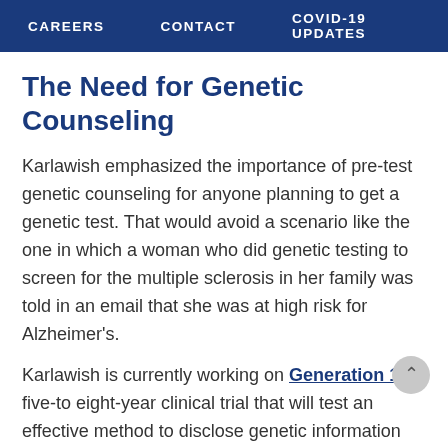CAREERS   CONTACT   COVID-19 UPDATES
The Need for Genetic Counseling
Karlawish emphasized the importance of pre-test genetic counseling for anyone planning to get a genetic test. That would avoid a scenario like the one in which a woman who did genetic testing to screen for the multiple sclerosis in her family was told in an email that she was at high risk for Alzheimer's.
Karlawish is currently working on Generation 1, a five-to eight-year clinical trial that will test an effective method to disclose genetic information about Alzheimer's to patients with no symptoms. Participants will have three options to learn their genotype: in person at one of the test sites, through a phone call or